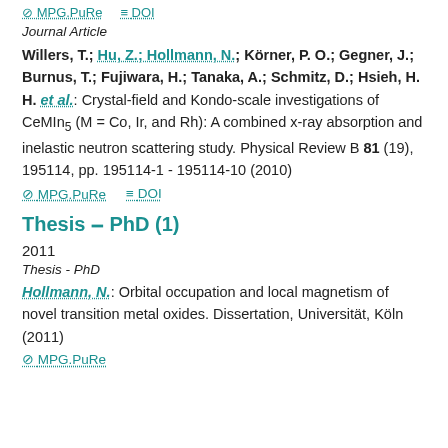⊘ MPG.PuRe  ≡ DOI
Journal Article
Willers, T.; Hu, Z.; Hollmann, N.; Körner, P. O.; Gegner, J.; Burnus, T.; Fujiwara, H.; Tanaka, A.; Schmitz, D.; Hsieh, H. H. et al.: Crystal-field and Kondo-scale investigations of CeMIn5 (M = Co, Ir, and Rh): A combined x-ray absorption and inelastic neutron scattering study. Physical Review B 81 (19), 195114, pp. 195114-1 - 195114-10 (2010)
⊘ MPG.PuRe  ≡ DOI
Thesis – PhD (1)
2011
Thesis - PhD
Hollmann, N.: Orbital occupation and local magnetism of novel transition metal oxides. Dissertation, Universität, Köln (2011)
⊘ MPG.PuRe